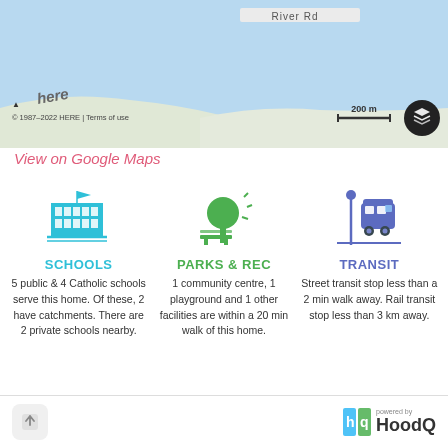[Figure (map): HERE map showing River Rd area near water, with map attribution © 1987–2022 HERE, Terms of use, 200 m scale bar, and layers button]
View on Google Maps
[Figure (infographic): Schools icon (blue building) with label SCHOOLS and text: 5 public & 4 Catholic schools serve this home. Of these, 2 have catchments. There are 2 private schools nearby.]
[Figure (infographic): Parks & Rec icon (green tree and bench) with label PARKS & REC and text: 1 community centre, 1 playground and 1 other facilities are within a 20 min walk of this home.]
[Figure (infographic): Transit icon (purple bus) with label TRANSIT and text: Street transit stop less than a 2 min walk away. Rail transit stop less than 3 km away.]
powered by HoodQ